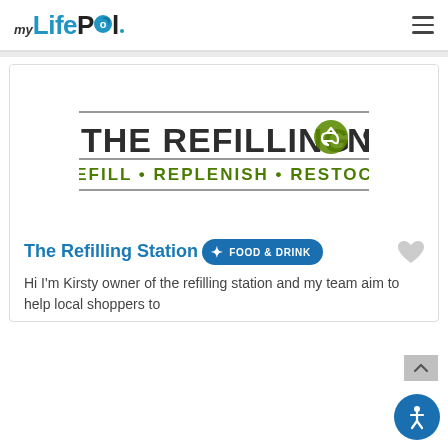[Figure (logo): myLifePool navigation logo with hamburger menu icon]
[Figure (logo): The Refilling Station logo with circular recycle icon and tagline REFILL • REPLENISH • RESTOCK]
The Refilling Station
FOOD & DRINK
Hi I'm Kirsty owner of the refilling station and my team aim to help local shoppers to